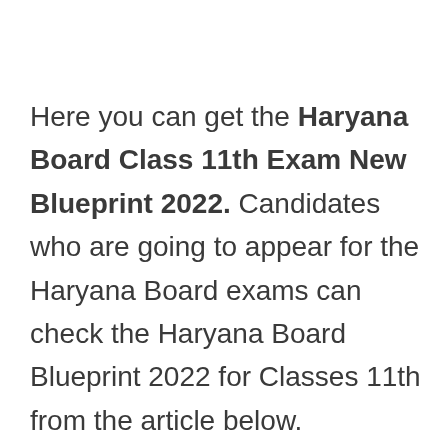Here you can get the Haryana Board Class 11th Exam New Blueprint 2022. Candidates who are going to appear for the Haryana Board exams can check the Haryana Board Blueprint 2022 for Classes 11th from the article below.